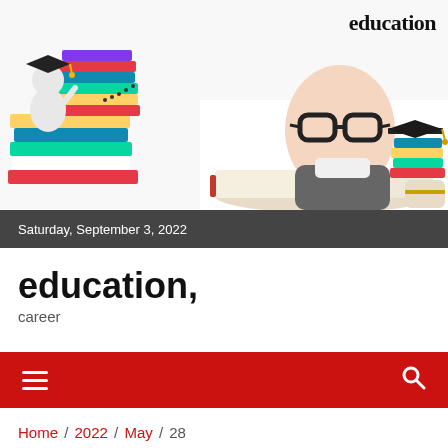[Figure (illustration): Education-themed banner image showing a cartoon figure with graduation cap standing on colorful stacked books on the left, and a baby wearing large glasses and a blazer reading a book in the center, with a graduation cap on a stack of books and a diploma on the right side. The word 'education' appears in bold serif font in the top right corner.]
Saturday, September 3, 2022
education,
career
[Figure (other): Red navigation bar with hamburger menu icon on left and search icon on right]
Home / 2022 / May / 28